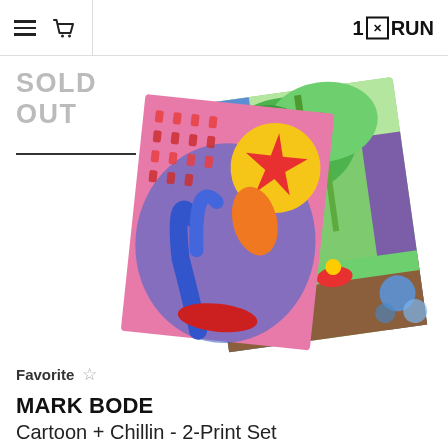1×RUN
SOLD OUT
[Figure (photo): Two colorful art prints overlapping: one with a pink/blue psychedelic pattern with small figures and a yellow character with a red star, and one with a vivid jungle scene featuring green foliage, a waterfall, and cartoon characters in purple and blue tones. Mark Bode Cartoon + Chillin 2-Print Set product photo.]
Favorite ☆
MARK BODE
Cartoon + Chillin - 2-Print Set